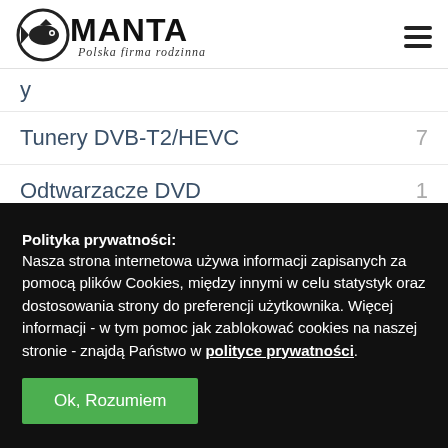[Figure (logo): Manta logo with fish icon and 'Polska firma rodzinna' tagline]
Tunery DVB-T2/HEVC 7
Odtwarzacze DVD 1
Filtry: ▼
Polityka prywatności: Nasza strona internetowa używa informacji zapisanych za pomocą plików Cookies, między innymi w celu statystyk oraz dostosowania strony do preferencji użytkownika. Więcej informacji - w tym pomoc jak zablokować cookies na naszej stronie - znajdą Państwo w polityce prywatności.
Ok, Rozumiem